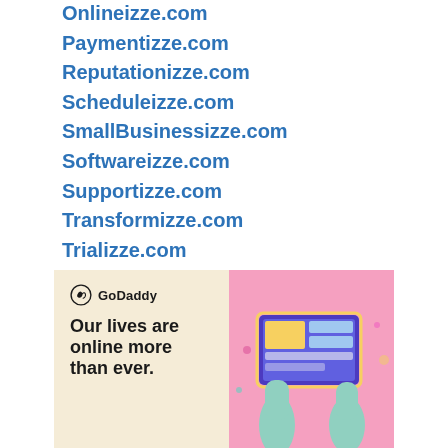Onlineizze.com
Paymentizze.com
Reputationizze.com
Scheduleizze.com
SmallBusinessizze.com
Softwareizze.com
Supportizze.com
Transformizze.com
Trializze.com
Tripizze.com
Websiteizze.com
[Figure (illustration): GoDaddy advertisement banner with cream left side showing GoDaddy logo and text 'Our lives are online more than ever.' and pink right side with 3D illustration of hands holding a computer screen with web design elements]